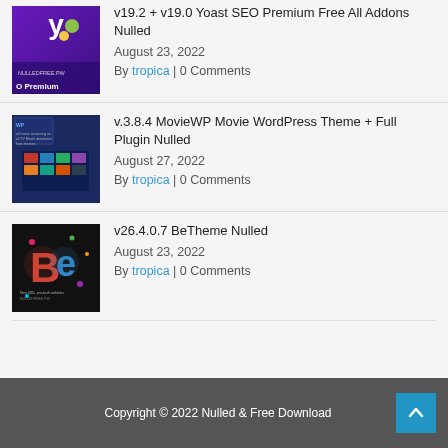[Figure (screenshot): Yoast SEO Premium thumbnail with purple background and NULLEDFREE.PW text]
v19.2 + v19.0 Yoast SEO Premium Free All Addons Nulled
August 23, 2022
By tropica | 0 Comments
[Figure (screenshot): MovieWP Movie WordPress Theme screenshot with dark blue background showing movie streaming interface]
v.3.8.4 MovieWP Movie WordPress Theme + Full Plugin Nulled
August 27, 2022
By tropica | 0 Comments
[Figure (screenshot): BeTheme Nulled thumbnail with dark background showing colorful Be letters]
v26.4.0.7 BeTheme Nulled
August 23, 2022
By tropica | 0 Comments
Copyright © 2022 Nulled & Free Download